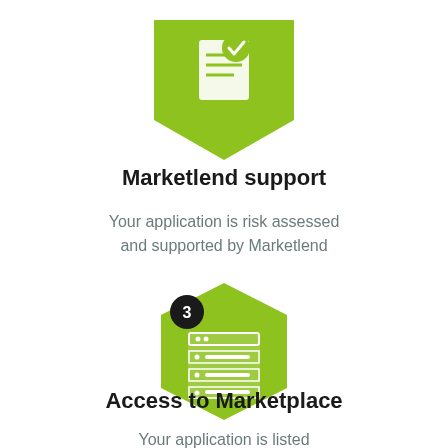[Figure (illustration): Green shield/badge icon with a checkmark and document lines, partially visible at top of page]
Marketlend support
Your application is risk assessed and supported by Marketlend
[Figure (illustration): Green hexagon icon with a database/table icon inside, and a dark circle with number 3 at the top-left]
Access to Marketplace
Your application is listed